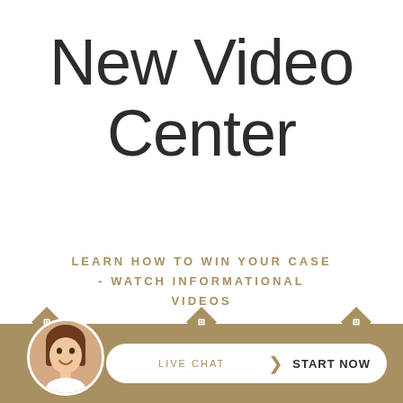New Video Center
LEARN HOW TO WIN YOUR CASE - WATCH INFORMATIONAL VIDEOS
[Figure (illustration): Bottom gold bar with circular avatar of a smiling woman with brown hair, diamond chevron decorations on top edge of bar, and a white pill-shaped button reading LIVE CHAT | START NOW]